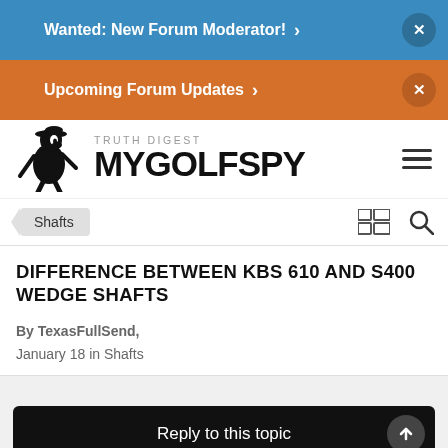Wanted: New Forum Moderator! >
Upcoming Forum Updates >
[Figure (logo): MyGolfSpy Truth Digest logo with stylized golfer mascot]
Shafts
DIFFERENCE BETWEEN KBS 610 AND S400 WEDGE SHAFTS
By TexasFullSend, January 18 in Shafts
Reply to this topic